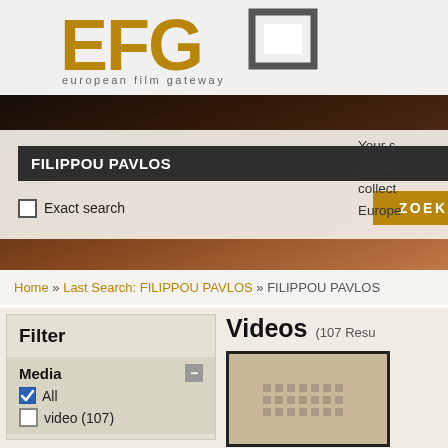[Figure (logo): EFG European Film Gateway logo with golden letters and grey bracket/frame icon]
FILIPPOU PAVLOS
Exact search
ZOEKEN
Your s image collect Europe
Home » Last Search: FILIPPOU PAVLOS » FILIPPOU PAVLOS
Filter
Media
All
video (107)
Videos (107 Resu
[Figure (screenshot): Video thumbnail with dark border showing a film reel icon on tan/beige background]